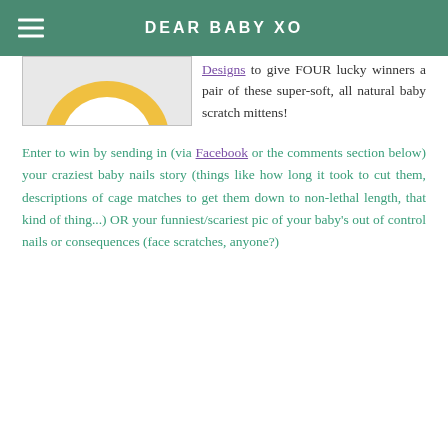DEAR BABY XO
[Figure (photo): Partial product image showing a yellow and white circular design on a light grey background — baby scratch mittens product photo cropped at top.]
Designs to give FOUR lucky winners a pair of these super-soft, all natural baby scratch mittens!
Enter to win by sending in (via Facebook or the comments section below) your craziest baby nails story (things like how long it took to cut them, descriptions of cage matches to get them down to non-lethal length, that kind of thing...) OR your funniest/scariest pic of your baby's out of control nails or consequences (face scratches, anyone?)